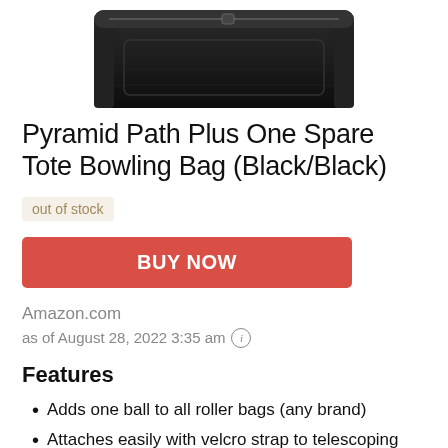[Figure (photo): Partial view of a black bowling bag (tote style) against a white background, showing the top portion of the bag with zipper.]
Pyramid Path Plus One Spare Tote Bowling Bag (Black/Black)
out of stock
BUY NOW
Amazon.com
as of August 28, 2022 3:35 am ⓘ
Features
Adds one ball to all roller bags (any brand)
Attaches easily with velcro strap to telescoping handles